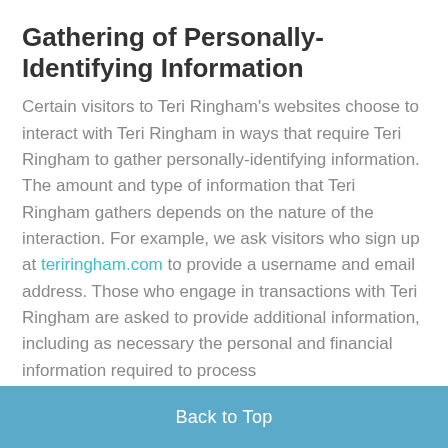Gathering of Personally-Identifying Information
Certain visitors to Teri Ringham's websites choose to interact with Teri Ringham in ways that require Teri Ringham to gather personally-identifying information. The amount and type of information that Teri Ringham gathers depends on the nature of the interaction. For example, we ask visitors who sign up at teriringham.com to provide a username and email address. Those who engage in transactions with Teri Ringham are asked to provide additional information, including as necessary the personal and financial information required to process
Back to Top